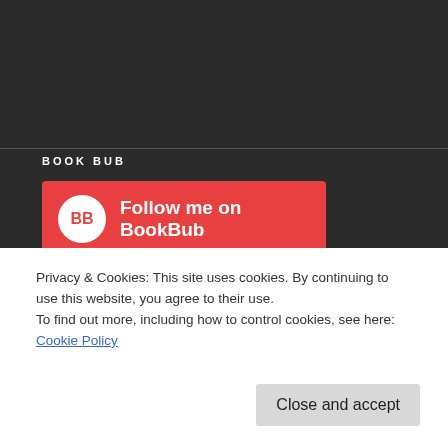BOOK BUB
[Figure (other): BookBub follow button — red rectangular button with BB logo circle and text 'Follow me on BookBub']
PAST POSTS
Select Month
Privacy & Cookies: This site uses cookies. By continuing to use this website, you agree to their use.
To find out more, including how to control cookies, see here: Cookie Policy
Close and accept
Select Category